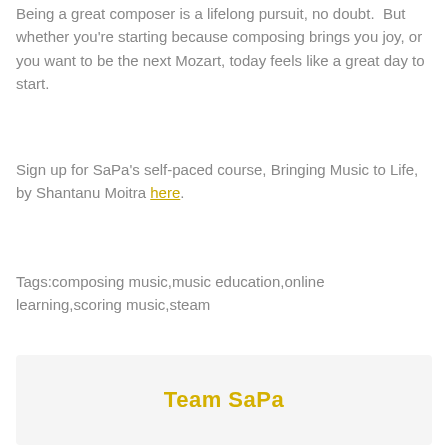Being a great composer is a lifelong pursuit, no doubt.  But whether you're starting because composing brings you joy, or you want to be the next Mozart, today feels like a great day to start.
Sign up for SaPa's self-paced course, Bringing Music to Life, by Shantanu Moitra here.
Tags:composing music,music education,online learning,scoring music,steam
Team SaPa